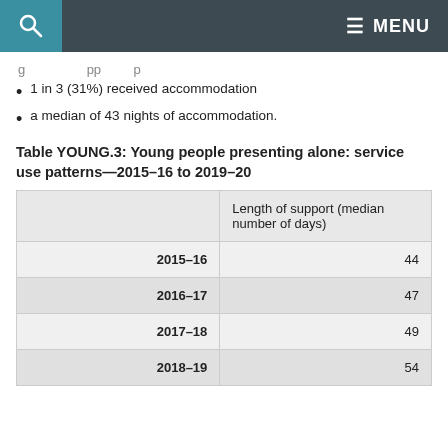MENU
1 in 3 (31%) received accommodation
a median of 43 nights of accommodation.
Table YOUNG.3: Young people presenting alone: service use patterns—2015–16 to 2019–20
|  | Length of support (median number of days) |
| --- | --- |
| 2015–16 | 44 |
| 2016–17 | 47 |
| 2017–18 | 49 |
| 2018–19 | 54 |